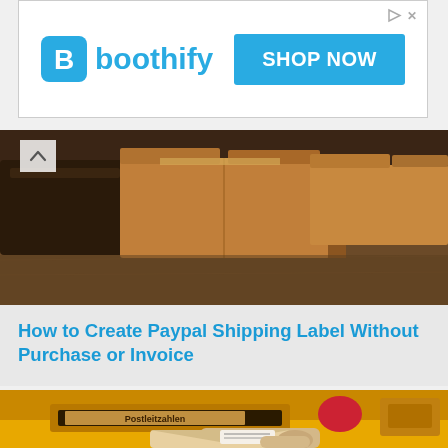[Figure (screenshot): Boothify advertisement banner with logo on left and 'SHOP NOW' blue button on right. Small play and X icons in top-right corner.]
[Figure (photo): Photo of cardboard shipping boxes/packages stacked on a wooden surface, viewed from below/side angle. Brown tones.]
How to Create Paypal Shipping Label Without Purchase or Invoice
[Figure (photo): Photo of a yellow German mailbox/post box with a mail slot labeled 'Postleitzahlen'. A hand is inserting an envelope with a shipping label into the slot.]